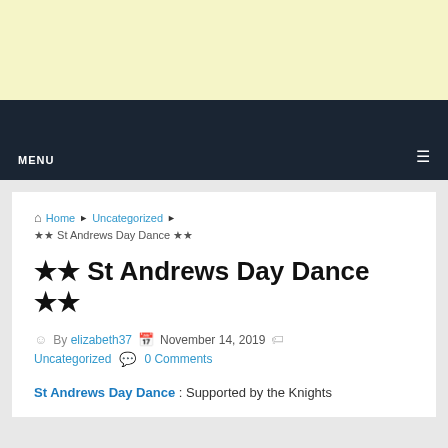[Figure (other): Advertisement banner with pale yellow background]
MENU ☰
🏠 Home ▶ Uncategorized ▶
★★ St Andrews Day Dance ★★
★★ St Andrews Day Dance ★★
By elizabeth37  November 14, 2019  Uncategorized  0 Comments
St Andrews Day Dance : Supported by the Knights